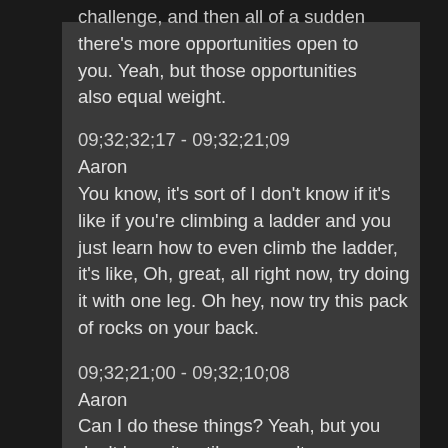challenge, and then all of a sudden there's more opportunities open to you. Yeah, but those opportunities also equal weight.
09;32;32;17 - 09;32;21;09
Aaron
You know, it's sort of I don't know if it's like if you're climbing a ladder and you just learn how to even climb the ladder, it's like, Oh, great, all right now, try doing it with one leg. Oh hey, now try this pack of rocks on your back.
09;32;21;00 - 09;32;10;08
Aaron
Can I do these things? Yeah, but you don't know it until you aren't even qualified to get to that level until you